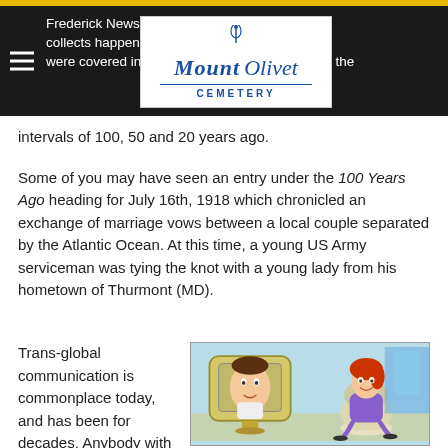Frederick News-Post [feature] which collects happenings [in] Maryland as they were covered in the local paper "on this date" at the intervals of 100, 50 and 20 years ago.
intervals of 100, 50 and 20 years ago.
Some of you may have seen an entry under the 100 Years Ago heading for July 16th, 1918 which chronicled an exchange of marriage vows between a local couple separated by the Atlantic Ocean. At this time, a young US Army serviceman was tying the knot with a young lady from his hometown of Thurmont (MD).
Trans-global communication is commonplace today, and has been for decades. Anybody with a smart phone
[Figure (illustration): Cartoon illustration in Jetsons style showing a woman with red hair sitting in a futuristic chair talking via a video screen to a man]